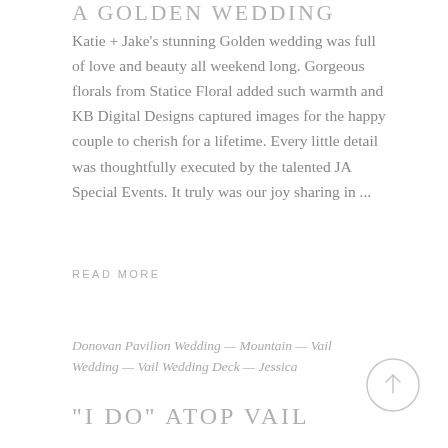A GOLDEN WEDDING
Katie + Jake's stunning Golden wedding was full of love and beauty all weekend long. Gorgeous florals from Statice Floral added such warmth and KB Digital Designs captured images for the happy couple to cherish for a lifetime. Every little detail was thoughtfully executed by the talented JA Special Events. It truly was our joy sharing in ...
READ MORE
Donovan Pavilion Wedding — Mountain — Vail Wedding — Vail Wedding Deck — Jessica
“I DO” ATOP VAIL